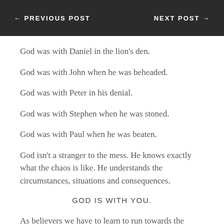← PREVIOUS POST    NEXT POST →
God was with Daniel in the lion's den.
God was with John when he was beheaded.
God was with Peter in his denial.
God was with Stephen when he was stoned.
God was with Paul when he was beaten.
God isn't a stranger to the mess. He knows exactly what the chaos is like. He understands the circumstances, situations and consequences.
GOD IS WITH YOU.
As believers we have to learn to run towards the chaos and be confident that God is in it. We have to face what lays